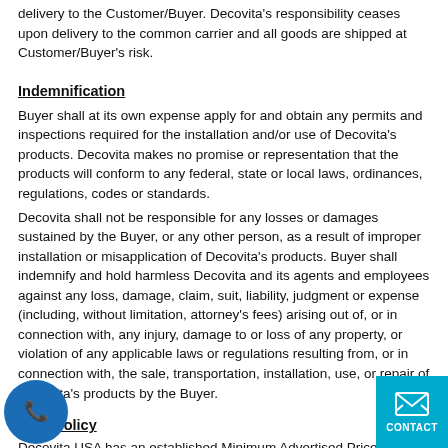delivery to the Customer/Buyer. Decovita's responsibility ceases upon delivery to the common carrier and all goods are shipped at Customer/Buyer's risk.
Indemnification
Buyer shall at its own expense apply for and obtain any permits and inspections required for the installation and/or use of Decovita's products. Decovita makes no promise or representation that the products will conform to any federal, state or local laws, ordinances, regulations, codes or standards.
Decovita shall not be responsible for any losses or damages sustained by the Buyer, or any other person, as a result of improper installation or misapplication of Decovita's products. Buyer shall indemnify and hold harmless Decovita and its agents and employees against any loss, damage, claim, suit, liability, judgment or expense (including, without limitation, attorney's fees) arising out of, or in connection with, any injury, damage to or loss of any property, or violation of any applicable laws or regulations resulting from, or in connection with, the sale, transportation, installation, use, or repair of Decovita's products by the Buyer.
MAP Policy
Decovita USA has an established Minimum Advertised Price (MAP)